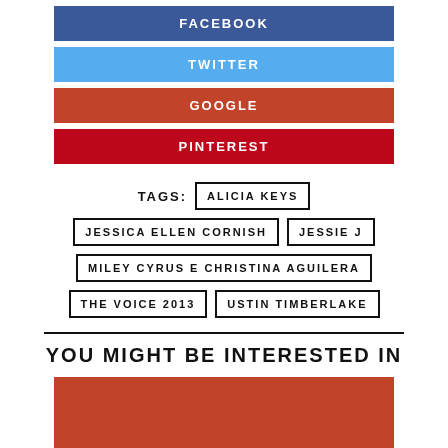FACEBOOK
TWITTER
GOOGLE
PINTEREST
TAGS: ALICIA KEYS | JESSICA ELLEN CORNISH | JESSIE J | MILEY CYRUS E CHRISTINA AGUILERA | THE VOICE 2013 | USTIN TIMBERLAKE
YOU MIGHT BE INTERESTED IN
[Figure (other): Red/orange colored block image placeholder]